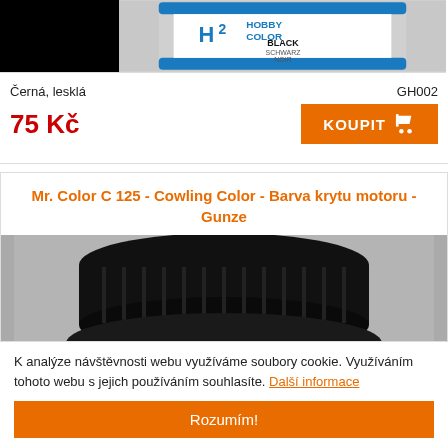[Figure (photo): Product listing showing a black paint pot (Hobby Color H2 Black/Schwarz/Noir) with a black square color swatch on the left and the product jar on the right showing a blue label with H2 and Hobby Color branding]
Černá, lesklá
GH002
75 Kč
KOUPIT
Mr. Color C 125 - Cowling Color - Barva krytu motoru - Gunze
[Figure (photo): A black Mr. Color paint jar (C 125) with black screw cap and Mr. Hobby label visible at bottom]
K analýze návštěvnosti webu využíváme soubory cookie. Využíváním tohoto webu s jejich používáním souhlasíte. Další informace
Rozumím!